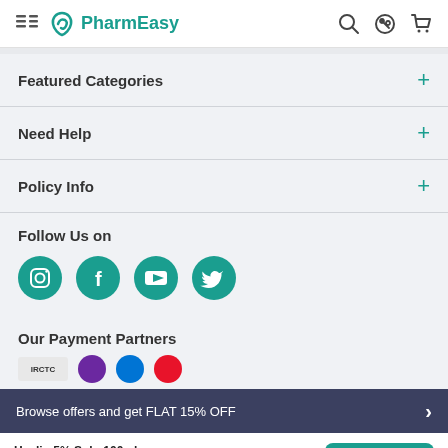PharmEasy
Featured Categories
Need Help
Policy Info
Follow Us on
[Figure (illustration): Social media icons: Instagram, Facebook, YouTube, Twitter in teal circles]
Our Payment Partners
[Figure (illustration): Partial payment partner logos visible at bottom]
Browse offers and get FLAT 15% OFF
Healin 5% Solu 100ml ₹75.91  15% OFF
Add To Cart